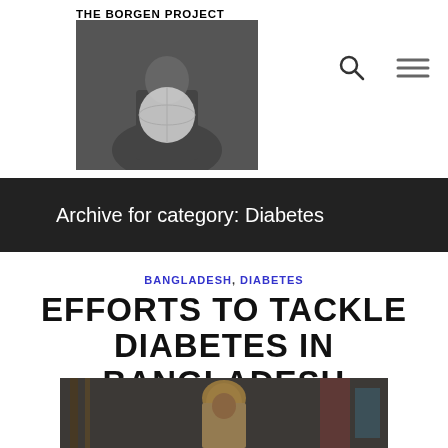THE BORGEN PROJECT
[Figure (photo): The Borgen Project logo: person holding a globe, black and white photo]
Archive for category: Diabetes
BANGLADESH, DIABETES
EFFORTS TO TACKLE DIABETES IN BANGLADESH
[Figure (photo): A woman in a headscarf photographed in what appears to be a market or shop setting]